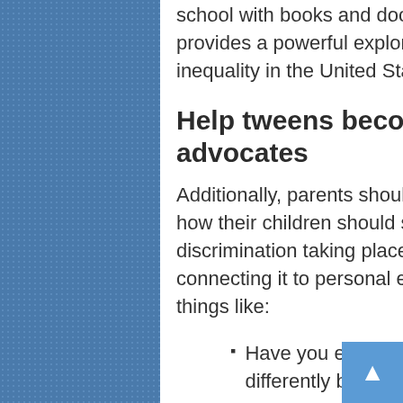school with books and documentaries such as 13th, which provides a powerful exploration of the history of racial inequality in the United States.
Help tweens become respectful advocates
Additionally, parents should talk to tweens about why and how their children should speak up if they see discrimination taking place. Dr. Glover recommends connecting it to personal examples and asking children things like:
Have you ever seen someone who was treated differently because of their skin